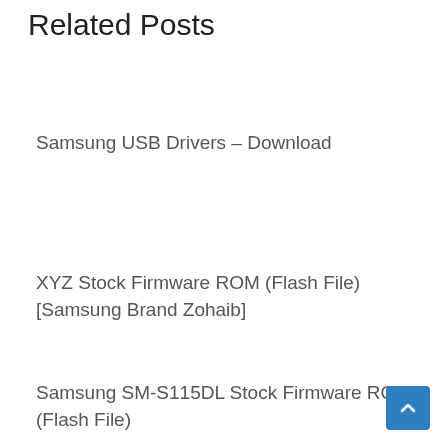Related Posts
Samsung USB Drivers – Download
XYZ Stock Firmware ROM (Flash File) [Samsung Brand Zohaib]
Samsung SM-S115DL Stock Firmware ROM (Flash File)